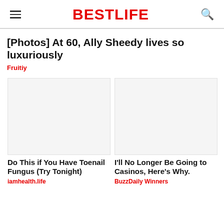BESTLIFE
[Photos] At 60, Ally Sheedy lives so luxuriously
Fruitiy
[Figure (photo): Blank/placeholder image for ad - left column]
[Figure (photo): Blank/placeholder image for ad - right column]
Do This if You Have Toenail Fungus (Try Tonight)
iamhealth.life
I'll No Longer Be Going to Casinos, Here's Why.
BuzzDaily Winners